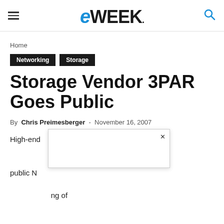eWEEK
Home
Networking  Storage
Storage Vendor 3PAR Goes Public
By Chris Preimesberger - November 16, 2007
High-end … ent public N… ng of